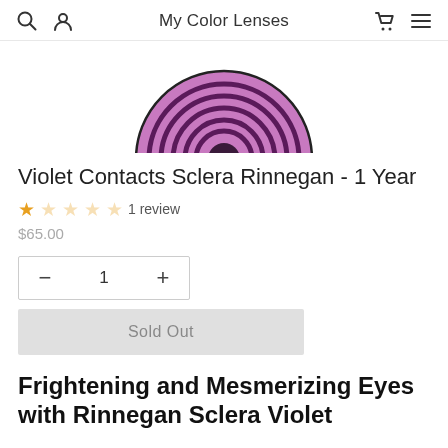My Color Lenses
[Figure (photo): Partial top view of a violet/purple sclera contact lens showing concentric ring pattern on a white background]
Violet Contacts Sclera Rinnegan - 1 Year
1 review
$65.00
1
Sold Out
Frightening and Mesmerizing Eyes with Rinnegan Sclera Violet